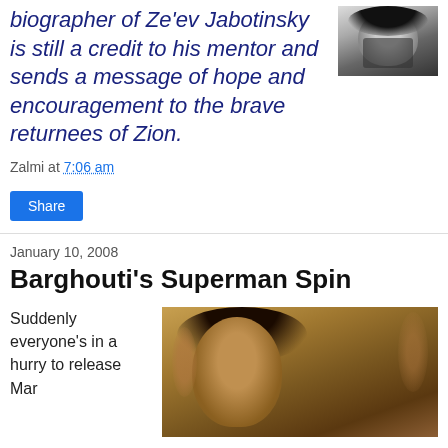biographer of Ze'ev Jabotinsky is still a credit to his mentor and sends a message of hope and encouragement to the brave returnees of Zion.
[Figure (photo): Black and white portrait photo of a man in a suit and tie]
Zalmi at 7:06 am
Share
January 10, 2008
Barghouti's Superman Spin
Suddenly everyone's in a hurry to release Mar...
[Figure (photo): Close-up photo of a man with dark curly hair and a furrowed brow, appearing to be in a courtroom or public setting]